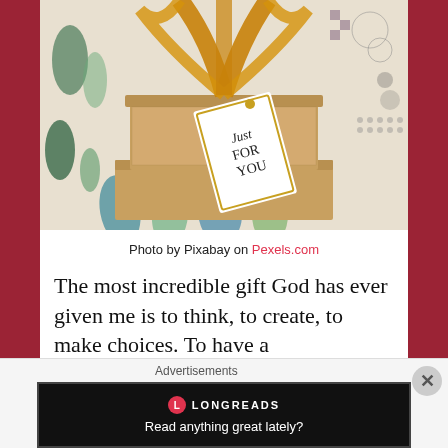[Figure (photo): A gift box with brown kraft paper boxes stacked, decorated with a gold/orange mesh ribbon bow on top and a gift tag reading 'Just FOR YOU'. Set against a colorful geometric patterned background with leaf/teardrop shapes in green, blue, teal, and brown.]
Photo by Pixabay on Pexels.com
The most incredible gift God has ever given me is to think, to create, to make choices. To have a
Advertisements
[Figure (screenshot): Longreads advertisement banner on black background. Shows Longreads logo (red circle with L) and tagline 'Read anything great lately?']